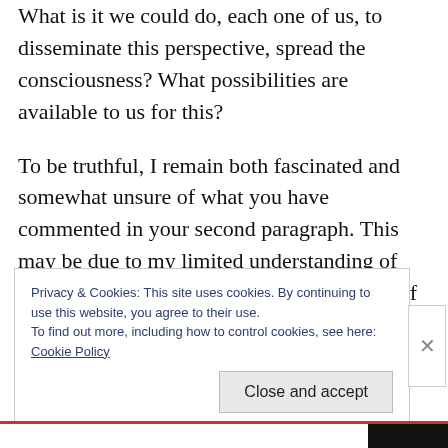What is it we could do, each one of us, to disseminate this perspective, spread the consciousness? What possibilities are available to us for this?
To be truthful, I remain both fascinated and somewhat unsure of what you have commented in your second paragraph. This may be due to my limited understanding of Dao-ist dualism.I need to understand more of this before I can start seeing the connectivity
Privacy & Cookies: This site uses cookies. By continuing to use this website, you agree to their use.
To find out more, including how to control cookies, see here:
Cookie Policy
Close and accept